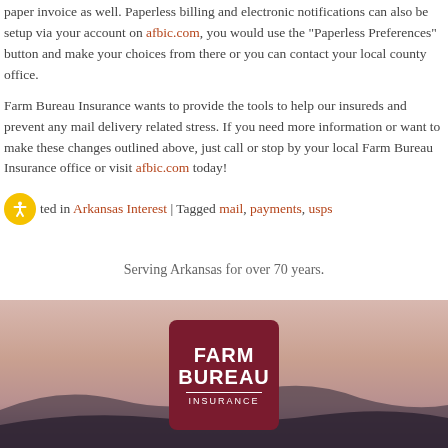paper invoice as well. Paperless billing and electronic notifications can also be setup via your account on afbic.com, you would use the "Paperless Preferences" button and make your choices from there or you can contact your local county office.
Farm Bureau Insurance wants to provide the tools to help our insureds and prevent any mail delivery related stress. If you need more information or want to make these changes outlined above, just call or stop by your local Farm Bureau Insurance office or visit afbic.com today!
Posted in Arkansas Interest | Tagged mail, payments, usps
Serving Arkansas for over 70 years.
[Figure (logo): Farm Bureau Insurance logo — dark red rounded square with FARM BUREAU in bold white text, a white horizontal rule, and INSURANCE in white spaced capitals below.]